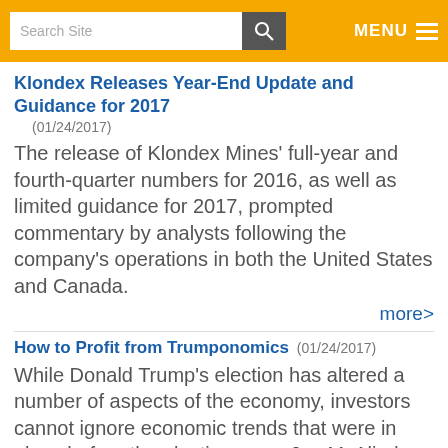Search Site | MENU
Klondex Releases Year-End Update and Guidance for 2017
(01/24/2017)
The release of Klondex Mines' full-year and fourth-quarter numbers for 2016, as well as limited guidance for 2017, prompted commentary by analysts following the company's operations in both the United States and Canada.
more>
How to Profit from Trumponomics
(01/24/2017)
While Donald Trump's election has altered a number of aspects of the economy, investors cannot ignore economic trends that were in place before the election, says Joe McAlinden, founder of McAlinden Research Partners and